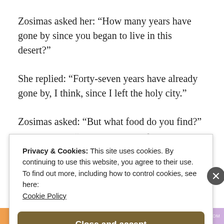Zosimas asked her: “How many years have gone by since you began to live in this desert?”
She replied: “Forty-seven years have already gone by, I think, since I left the holy city.”
Zosimas asked: “But what food do you find?”
Privacy & Cookies: This site uses cookies. By continuing to use this website, you agree to their use.
To find out more, including how to control cookies, see here: Cookie Policy
Close and accept